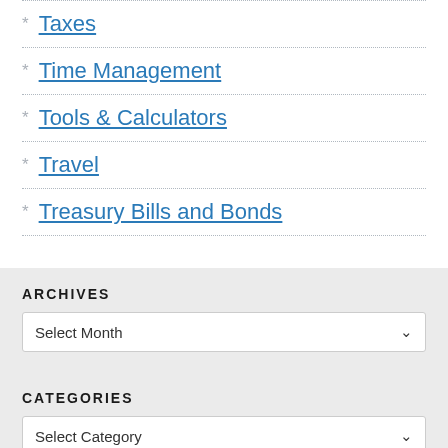Taxes
Time Management
Tools & Calculators
Travel
Treasury Bills and Bonds
ARCHIVES
Select Month
CATEGORIES
Select Category